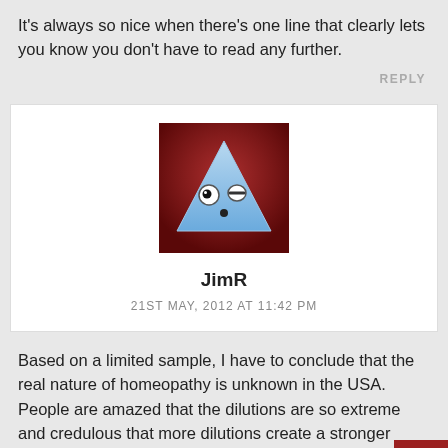It's always so nice when there's one line that clearly lets you know you don't have to read any further.
REPLY
[Figure (illustration): Avatar image: cartoon triangle character with eyes and a dot mouth, light blue triangle on a dark red/maroon background]
JimR
21ST MAY, 2012 AT 11:42 PM
Based on a limited sample, I have to conclude that the real nature of homeopathy is unknown in the USA. People are amazed that the dilutions are so extreme and credulous that more dilutions create a stronger respo... Although labels will reveal a homeopathic product in n... type, that will convey nothing to most people.